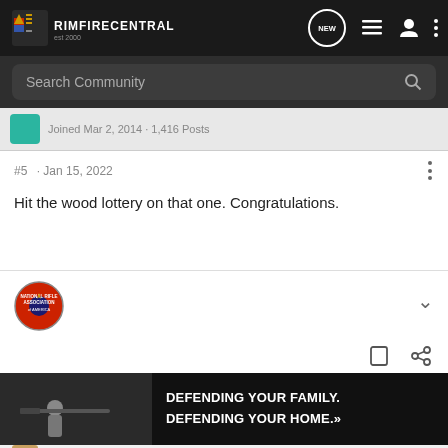RIMFIRECENTRAL
Search Community
Joined Mar 2, 2014 · 1,416 Posts
#5 · Jan 15, 2022
Hit the wood lottery on that one. Congratulations.
[Figure (logo): NRA National Rifle Association circular badge logo]
[Figure (photo): Advertisement banner: person aiming rifle, text DEFENDING YOUR FAMILY. DEFENDING YOUR HOME.]